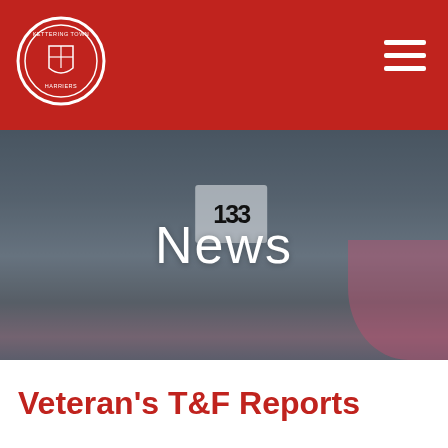[Figure (logo): Kettering Town Harriers circular club crest/logo in white on red background]
[Figure (photo): Runners wearing race bibs (bib number 133 visible) in athletic gear, muted/dark photo used as hero banner background with the word News overlaid]
News
Veteran's T&F Reports